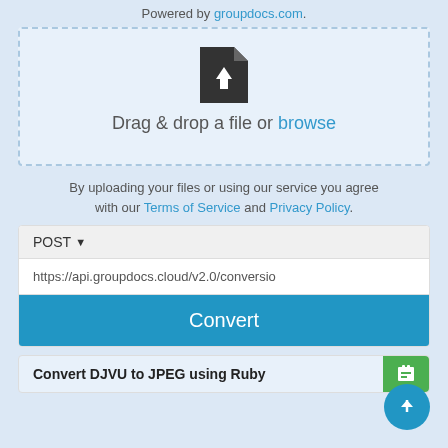Powered by groupdocs.com.
[Figure (illustration): Drag and drop file upload area with dashed border, file upload icon, and text 'Drag & drop a file or browse']
By uploading your files or using our service you agree with our Terms of Service and Privacy Policy.
[Figure (screenshot): API panel with POST method selector, URL field showing https://api.groupdocs.cloud/v2.0/conversio, and Convert button]
Convert DJVU to JPEG using Ruby